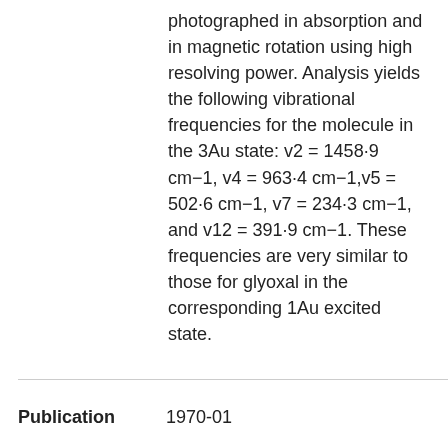photographed in absorption and in magnetic rotation using high resolving power. Analysis yields the following vibrational frequencies for the molecule in the 3Au state: v2 = 1458·9 cm−1, v4 = 963·4 cm−1,v5 = 502·6 cm−1, v7 = 234·3 cm−1, and v12 = 391·9 cm−1. These frequencies are very similar to those for glyoxal in the corresponding 1Au excited state.
Publication 1970-01